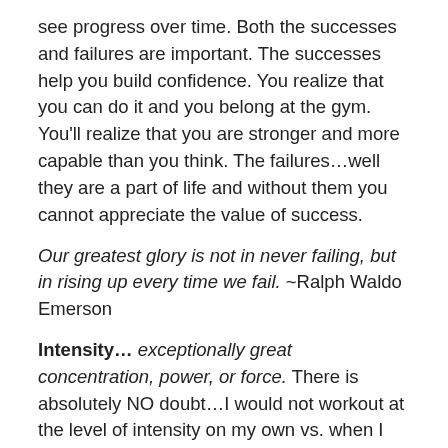see progress over time. Both the successes and failures are important. The successes help you build confidence. You realize that you can do it and you belong at the gym. You'll realize that you are stronger and more capable than you think. The failures…well they are a part of life and without them you cannot appreciate the value of success.
Our greatest glory is not in never failing, but in rising up every time we fail. ~Ralph Waldo Emerson
Intensity… exceptionally great concentration, power, or force. There is absolutely NO doubt…I would not workout at the level of intensity on my own vs. when I with my trainer. I can't image that I would ever attempt leg presses with 400 plus pounds – yeah that's what I said…400 plus pounds. I believe my record is 450…but it might actually be 470, I've lost track (oh no, the problem is I don't keep